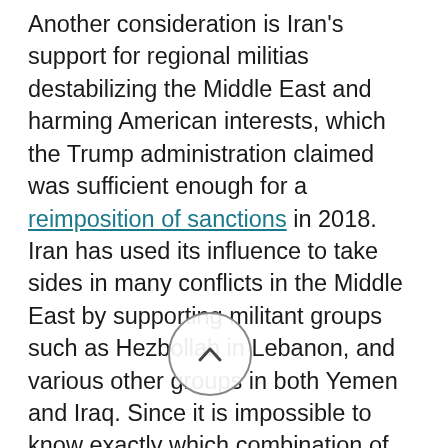Another consideration is Iran's support for regional militias destabilizing the Middle East and harming American interests, which the Trump administration claimed was sufficient enough for a reimposition of sanctions in 2018. Iran has used its influence to take sides in many conflicts in the Middle East by supporting militant groups such as Hezbollah in Lebanon, and various other groups in both Yemen and Iraq. Since it is impossible to know exactly which combination of these reasons caused the United States to withdraw, a fair analysis of the American attempt to initiate snapback sanctions through the Security Council on August 14th, 2020 should be done with all of these reasons in mind.